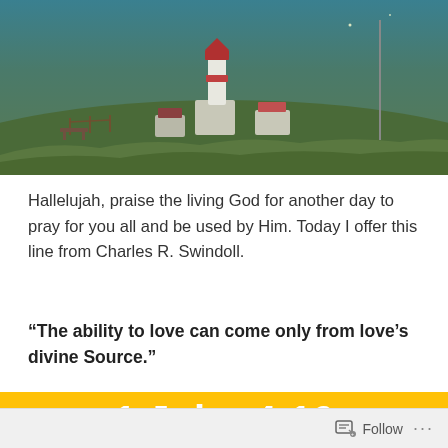[Figure (photo): Lighthouse on a grassy hill with a teal/blue sky at dusk or dawn. Dark landscape with a white lighthouse tower and red-roofed buildings.]
Hallelujah, praise the living God for another day to pray for you all and be used by Him. Today I offer this line from Charles R. Swindoll.
“The ability to love can come only from love’s divine Source.”
[Figure (infographic): Orange/amber background block showing biblical reference '1 John 4:16' and the word 'New' in large white bold text.]
Follow ...